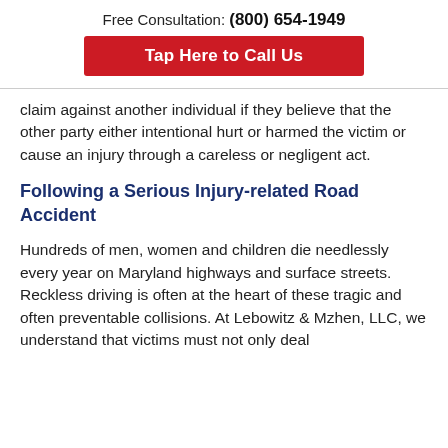Free Consultation: (800) 654-1949
[Figure (other): Red button with white text: Tap Here to Call Us]
claim against another individual if they believe that the other party either intentional hurt or harmed the victim or cause an injury through a careless or negligent act.
Following a Serious Injury-related Road Accident
Hundreds of men, women and children die needlessly every year on Maryland highways and surface streets. Reckless driving is often at the heart of these tragic and often preventable collisions. At Lebowitz & Mzhen, LLC, we understand that victims must not only deal